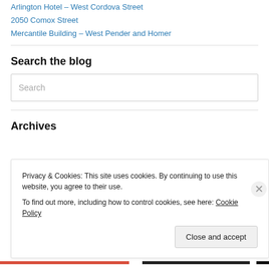Arlington Hotel – West Cordova Street
2050 Comox Street
Mercantile Building – West Pender and Homer
Search the blog
Search
Archives
Privacy & Cookies: This site uses cookies. By continuing to use this website, you agree to their use.
To find out more, including how to control cookies, see here: Cookie Policy
Close and accept